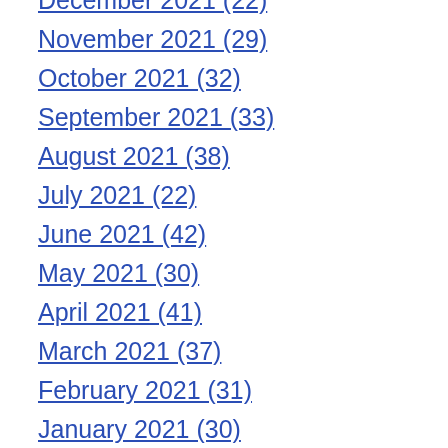December 2021 (22)
November 2021 (29)
October 2021 (32)
September 2021 (33)
August 2021 (38)
July 2021 (22)
June 2021 (42)
May 2021 (30)
April 2021 (41)
March 2021 (37)
February 2021 (31)
January 2021 (30)
December 2020 (26)
November 2020 (24)